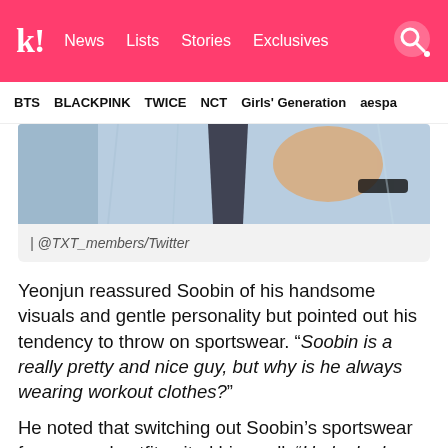k! News Lists Stories Exclusives
BTS BLACKPINK TWICE NCT Girls' Generation aespa
[Figure (photo): Partial photo of a person wearing a light blue outfit with a dark tie/accessory, hand raised near face, wrist accessory visible. Image is cropped showing torso area only.]
| @TXT_members/Twitter
Yeonjun reassured Soobin of his handsome visuals and gentle personality but pointed out his tendency to throw on sportswear. “Soobin is a really pretty and nice guy, but why is he always wearing workout clothes?”
He noted that switching out Soobin’s sportswear for a casual outfit suited him well: “He looked great, even when he just wore a riding jacket